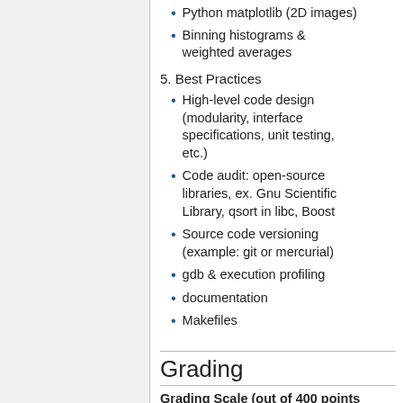Python matplotlib (2D images)
Binning histograms & weighted averages
5. Best Practices
High-level code design (modularity, interface specifications, unit testing, etc.)
Code audit: open-source libraries, ex. Gnu Scientific Library, qsort in libc, Boost
Source code versioning (example: git or mercurial)
gdb & execution profiling
documentation
Makefiles
Grading
Grading Scale (out of 400 points